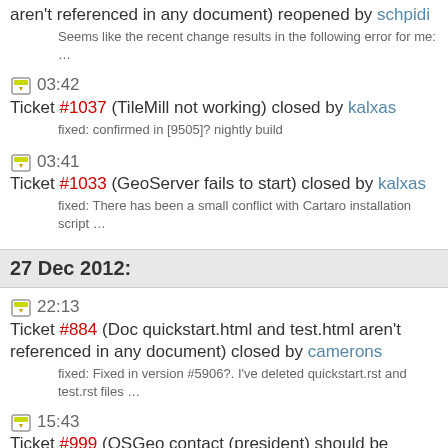aren't referenced in any document) reopened by schpidi
Seems like the recent change results in the following error for me: …
03:42 Ticket #1037 (TileMill not working) closed by kalxas
fixed: confirmed in [9505]? nightly build
03:41 Ticket #1033 (GeoServer fails to start) closed by kalxas
fixed: There has been a small conflict with Cartaro installation script …
27 Dec 2012:
22:13 Ticket #884 (Doc quickstart.html and test.html aren't referenced in any document) closed by camerons
fixed: Fixed in version #5906?. I've deleted quickstart.rst and test.rst files …
15:43 Ticket #999 (OSGeo contact (president) should be updated) closed by camerons